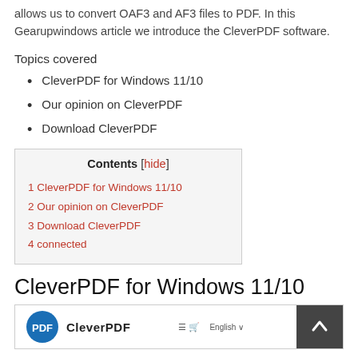allows us to convert OAF3 and AF3 files to PDF. In this Gearupwindows article we introduce the CleverPDF software.
Topics covered
CleverPDF for Windows 11/10
Our opinion on CleverPDF
Download CleverPDF
Contents [hide]
1 CleverPDF for Windows 11/10
2 Our opinion on CleverPDF
3 Download CleverPDF
4 connected
CleverPDF for Windows 11/10
[Figure (screenshot): Screenshot of CleverPDF application window showing the CleverPDF logo and brand name with navigation icons]